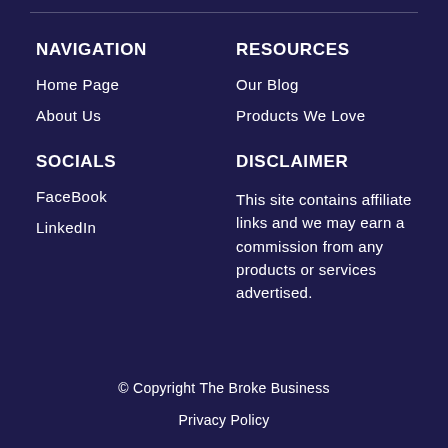NAVIGATION
Home Page
About Us
RESOURCES
Our Blog
Products We Love
SOCIALS
FaceBook
LinkedIn
DISCLAIMER
This site contains affiliate links and we may earn a commission from any products or services advertised.
© Copyright The Broke Business
Privacy Policy